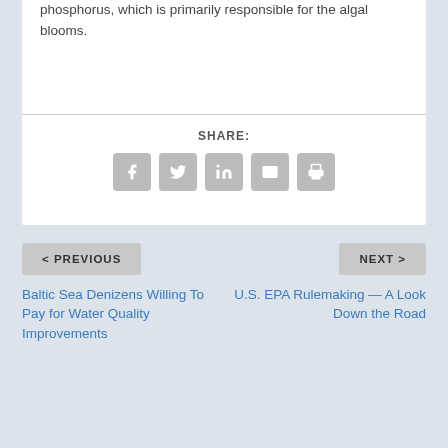phosphorus, which is primarily responsible for the algal blooms.
SHARE:
[Figure (infographic): Social sharing buttons: Facebook, Twitter, LinkedIn, Email, Print]
< PREVIOUS
NEXT >
Baltic Sea Denizens Willing To Pay for Water Quality Improvements
U.S. EPA Rulemaking — A Look Down the Road